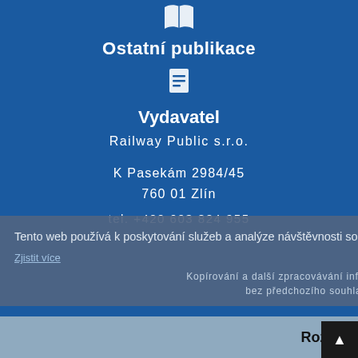[Figure (illustration): White book/open book icon on blue background]
Ostatní publikace
[Figure (illustration): White document/file icon on blue background]
Vydavatel
Railway Public s.r.o.
K Pasekám 2984/45
760 01 Zlín
tel. +420 603 824 955
o webu s tím souhlasíte.
Tento web používá k poskytování služeb a analýze návštěvnosti soubory cookie. Používáním tohoto webu s tím souhlasíte.
Kopírování a další zpracovávání informací z těchto stránek je bez předchozího souhlasu zakázáno.
Zjistit více
Rozumím!